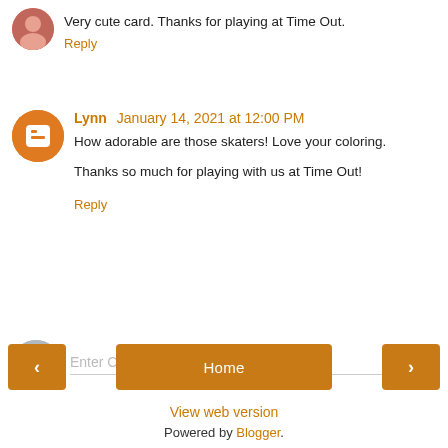Very cute card. Thanks for playing at Time Out.
Reply
Lynn January 14, 2021 at 12:00 PM
How adorable are those skaters! Love your coloring.

Thanks so much for playing with us at Time Out!
Reply
Enter Comment
Home
View web version
Powered by Blogger.